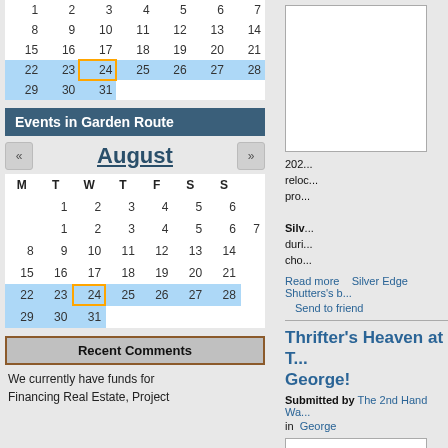|  |  |  |  |  |  |  |
| 8 | 9 | 10 | 11 | 12 | 13 | 14 |
| 15 | 16 | 17 | 18 | 19 | 20 | 21 |
| 22 | 23 | 24 | 25 | 26 | 27 | 28 |
| 29 | 30 | 31 |  |  |  |  |
Events in Garden Route
August
| M | T | W | T | F | S | S |
| --- | --- | --- | --- | --- | --- | --- |
|  | 1 | 2 | 3 | 4 | 5 | 6 | 7 |
| 8 | 9 | 10 | 11 | 12 | 13 | 14 |
| 15 | 16 | 17 | 18 | 19 | 20 | 21 |
| 22 | 23 | 24 | 25 | 26 | 27 | 28 |
| 29 | 30 | 31 |  |  |  |  |
Recent Comments
We currently have funds for Financing Real Estate, Project
[Figure (other): Blank image placeholder box]
2024 reloc pro Silver Edge Shutters dur cho
Read more   Silver Edge Shutters's b
Send to friend
Thrifter's Heaven at T George!
Submitted by The 2nd Hand Wa. in George
[Figure (other): Bottom image placeholder box]
Qua Wa